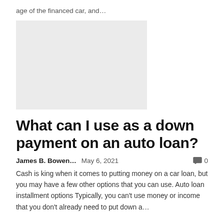age of the financed car, and…
[Figure (photo): Gray placeholder image rectangle]
What can I use as a down payment on an auto loan?
James B. Bowen…   May 6, 2021   🗨 0
Cash is king when it comes to putting money on a car loan, but you may have a few other options that you can use. Auto loan installment options Typically, you can't use money or income that you don't already need to put down a…